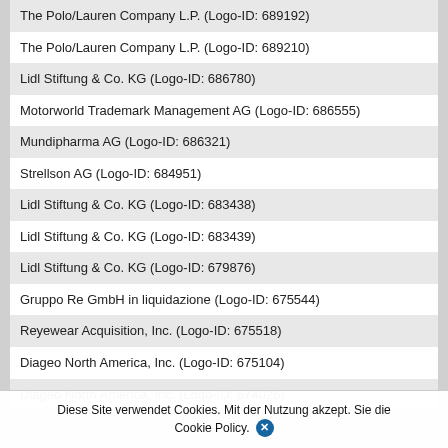| The Polo/Lauren Company L.P. (Logo-ID: 689192) |
| The Polo/Lauren Company L.P. (Logo-ID: 689210) |
| Lidl Stiftung & Co. KG (Logo-ID: 686780) |
| Motorworld Trademark Management AG (Logo-ID: 686555) |
| Mundipharma AG (Logo-ID: 686321) |
| Strellson AG (Logo-ID: 684951) |
| Lidl Stiftung & Co. KG (Logo-ID: 683438) |
| Lidl Stiftung & Co. KG (Logo-ID: 683439) |
| Lidl Stiftung & Co. KG (Logo-ID: 679876) |
| Gruppo Re GmbH in liquidazione (Logo-ID: 675544) |
| Reyewear Acquisition, Inc. (Logo-ID: 675518) |
| Diageo North America, Inc. (Logo-ID: 675104) |
| Diageo North America, Inc. (Logo-ID: 674026) |
Diese Site verwendet Cookies. Mit der Nutzung akzept. Sie die Cookie Policy.